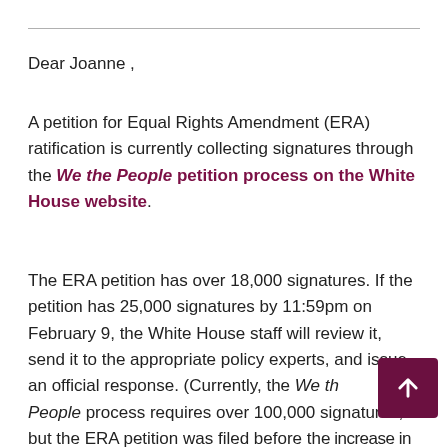Dear Joanne ,
A petition for Equal Rights Amendment (ERA) ratification is currently collecting signatures through the We the People petition process on the White House website.
The ERA petition has over 18,000 signatures. If the petition has 25,000 signatures by 11:59pm on February 9, the White House staff will review it, send it to the appropriate policy experts, and issue an official response. (Currently, the We the People process requires over 100,000 signatures, but the ERA petition was filed before the increase in requirements.)